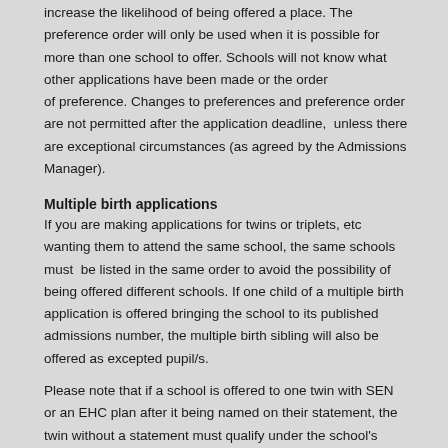increase the likelihood of being offered a place. The preference order will only be used when it is possible for more than one school to offer. Schools will not know what other applications have been made or the order of preference. Changes to preferences and preference order are not permitted after the application deadline, unless there are exceptional circumstances (as agreed by the Admissions Manager).
Multiple birth applications
If you are making applications for twins or triplets, etc wanting them to attend the same school, the same schools must be listed in the same order to avoid the possibility of being offered different schools. If one child of a multiple birth application is offered bringing the school to its published admissions number, the multiple birth sibling will also be offered as excepted pupil/s.
Please note that if a school is offered to one twin with SEN or an EHC plan after it being named on their statement, the twin without a statement must qualify under the school's admissions criteria to be offered a place at the same school. It is important to ensure there is a strong possibility of your child being offered a place. Distance is usually a deciding factor so